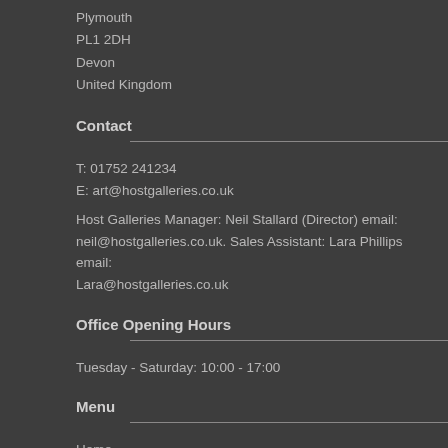Plymouth
PL1 2DH
Devon
United Kingdom
Contact
T: 01752 241234
E: art@hostgalleries.co.uk
Host Galleries Manager: Neil Stallard (Director) email: neil@hostgalleries.co.uk. Sales Assistant: Lara Phillips email: Lara@hostgalleries.co.uk
Office Opening Hours
Tuesday - Saturday: 10:00 - 17:00
Menu
Home
Shop By Artist